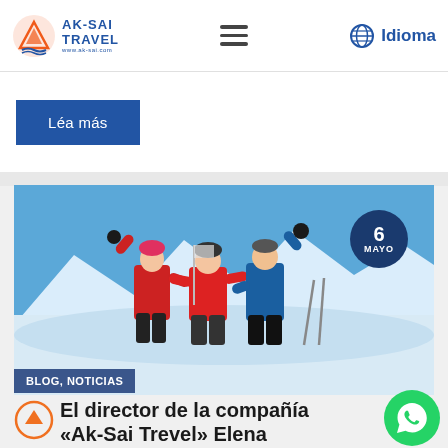AK-SAI TRAVEL | Idioma
Léa más
[Figure (photo): Three people in red and blue winter jackets celebrating with arms raised on a snowy mountain summit under a blue sky. Date badge: 6 MAYO.]
BLOG, NOTICIAS
El director de la compañía «Ak-Sai Trevel» Elena